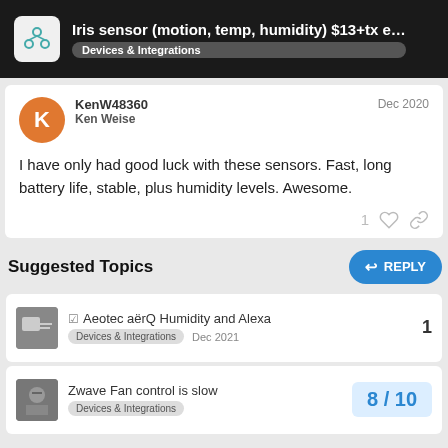Iris sensor (motion, temp, humidity) $13+tx e… — Devices & Integrations
KenW48360
Ken Weise
Dec 2020
I have only had good luck with these sensors. Fast, long battery life, stable, plus humidity levels. Awesome.
Suggested Topics
☑ Aeotec aërQ Humidity and Alexa
Devices & Integrations — Dec 2021 — 1
Zwave Fan control is slow
Devices & Integrations — 8/10